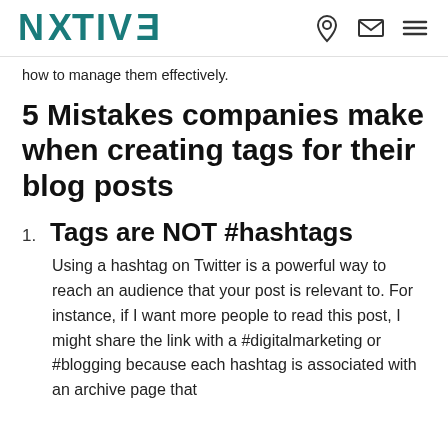NATIVE (logo with navigation icons)
how to manage them effectively.
5 Mistakes companies make when creating tags for their blog posts
1. Tags are NOT #hashtags
Using a hashtag on Twitter is a powerful way to reach an audience that your post is relevant to. For instance, if I want more people to read this post, I might share the link with a #digitalmarketing or #blogging because each hashtag is associated with an archive page that